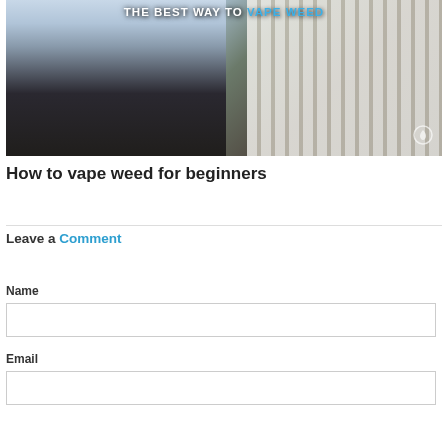[Figure (photo): Photo of a person in a denim shirt holding a vaping device, with white fence in background. Text overlay reads 'THE BEST WAY TO VAPE WEED']
How to vape weed for beginners
Leave a Comment
Name
Email